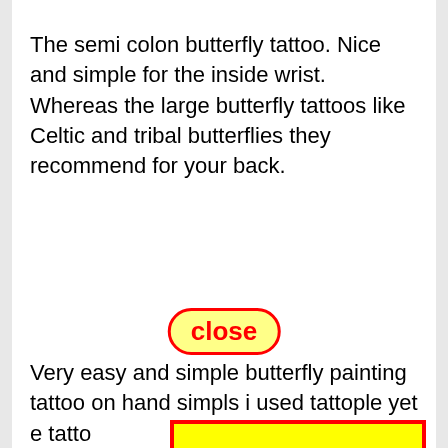The semi colon butterfly tattoo. Nice and simple for the inside wrist. Whereas the large butterfly tattoos like Celtic and tribal butterflies they recommend for your back.
[Figure (other): A red-bordered rounded rectangle 'close' button with red text on yellow background, overlaying the content as a UI popup/ad close button.]
Very easy and simple butterfly painting tattoo on hand... simpl... s i used... tatto... ple yet e... tatto...
[Figure (other): A large yellow rectangle with a red border covering the central portion of the page, obscuring underlying text content.]
Nov... wn on t... mor... ger